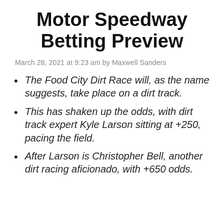Motor Speedway Betting Preview
March 28, 2021 at 9:23 am by Maxwell Sanders
The Food City Dirt Race will, as the name suggests, take place on a dirt track.
This has shaken up the odds, with dirt track expert Kyle Larson sitting at +250, pacing the field.
After Larson is Christopher Bell, another dirt racing aficionado, with +650 odds.